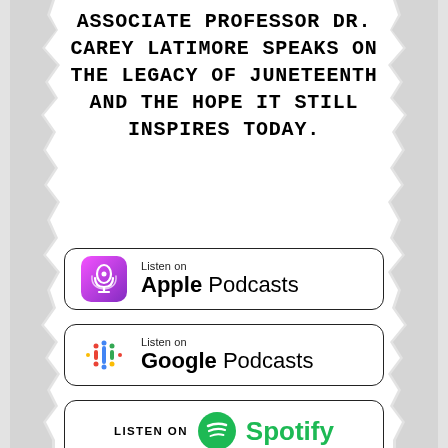ASSOCIATE PROFESSOR DR. CAREY LATIMORE SPEAKS ON THE LEGACY OF JUNETEENTH AND THE HOPE IT STILL INSPIRES TODAY.
[Figure (logo): Listen on Apple Podcasts badge with purple podcast icon]
[Figure (logo): Listen on Google Podcasts badge with colorful microphone icon]
[Figure (logo): Listen on Spotify badge with green Spotify logo]